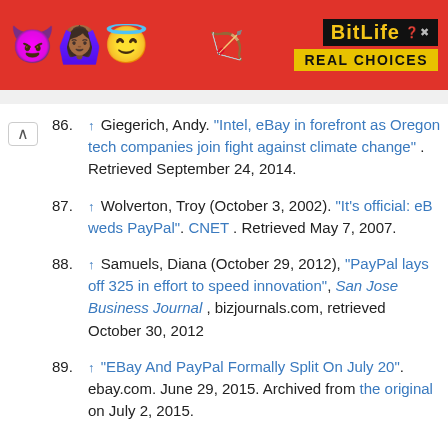[Figure (screenshot): BitLife app advertisement banner with emoji characters (devil, person with arms up, angel face) on red background, with BitLife logo and 'REAL CHOICES' text in black/yellow.]
86. ↑ Giegerich, Andy. "Intel, eBay in forefront as Oregon tech companies join fight against climate change" . Retrieved September 24, 2014.
87. ↑ Wolverton, Troy (October 3, 2002). "It's official: eB weds PayPal". CNET . Retrieved May 7, 2007.
88. ↑ Samuels, Diana (October 29, 2012), "PayPal lays off 325 in effort to speed innovation", San Jose Business Journal , bizjournals.com, retrieved October 30, 2012
89. ↑ "EBay And PayPal Formally Split On July 20". ebay.com. June 29, 2015. Archived from the original on July 2, 2015.